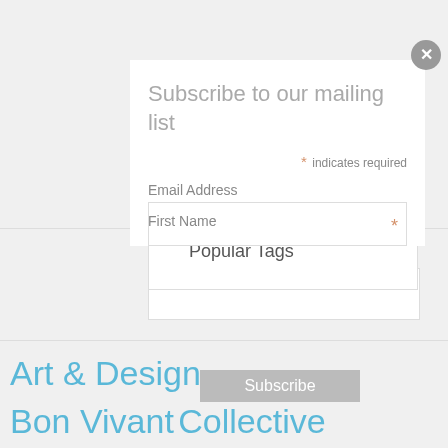Subscribe to our mailing list
* indicates required
Email Address
First Name
Popular Tags
Last Name
Art & Design
Bazaar
Beauty
Bon Vivant
Collective Consciousness
Culture
Fashion
Featured
Film & TV
Gallery
Giveaways
Happenings
Music